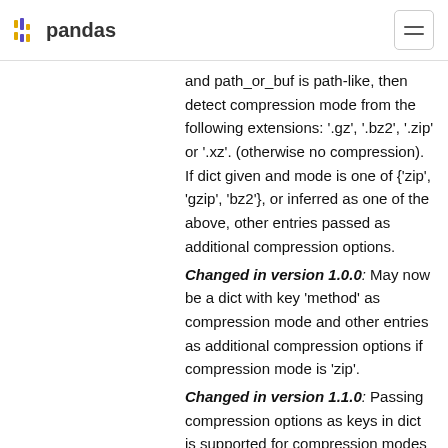pandas
and path_or_buf is path-like, then detect compression mode from the following extensions: '.gz', '.bz2', '.zip' or '.xz'. (otherwise no compression). If dict given and mode is one of {'zip', 'gzip', 'bz2'}, or inferred as one of the above, other entries passed as additional compression options.
Changed in version 1.0.0: May now be a dict with key 'method' as compression mode and other entries as additional compression options if compression mode is 'zip'.
Changed in version 1.1.0: Passing compression options as keys in dict is supported for compression modes